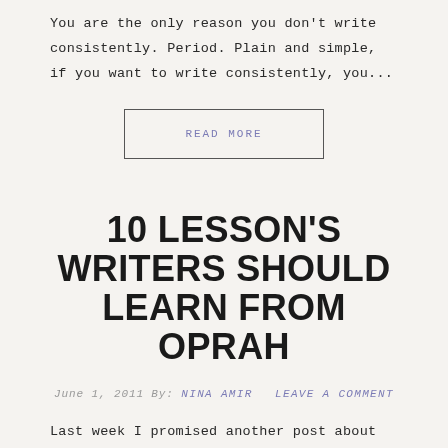You are the only reason you don't write consistently. Period. Plain and simple, if you want to write consistently, you...
READ MORE
10 LESSON'S WRITERS SHOULD LEARN FROM OPRAH
June 1, 2011 By: NINA AMIR   LEAVE A COMMENT
Last week I promised another post about